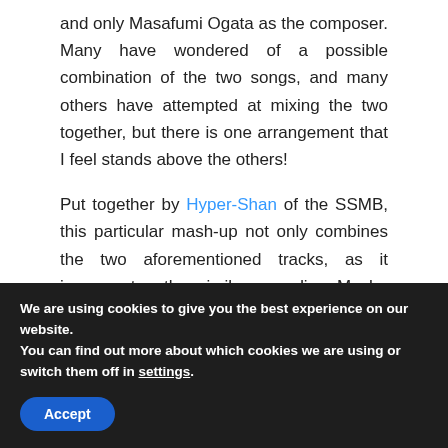and only Masafumi Ogata as the composer. Many have wondered of a possible combination of the two songs, and many others have attempted at mixing the two together, but there is one arrangement that I feel stands above the others!
Put together by Hyper-Shan of the SSMB, this particular mash-up not only combines the two aforementioned tracks, as it incorporates the similar sounding Mecha Green Hill from Sonic
We are using cookies to give you the best experience on our website.
You can find out more about which cookies we are using or switch them off in settings.
Accept